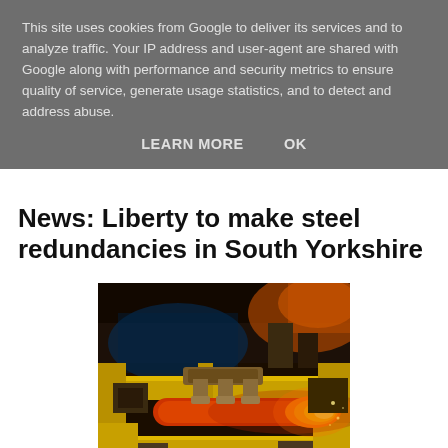This site uses cookies from Google to deliver its services and to analyze traffic. Your IP address and user-agent are shared with Google along with performance and security metrics to ensure quality of service, generate usage statistics, and to detect and address abuse.
LEARN MORE   OK
News: Liberty to make steel redundancies in South Yorkshire
[Figure (photo): A steel rod glowing red-hot being processed in an industrial steel mill with yellow machinery and equipment visible.]
In its first backwards step since acquiring operations